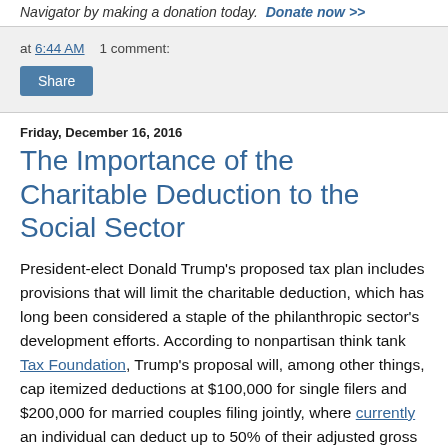Navigator by making a donation today.  Donate now >>
at 6:44 AM    1 comment:
Share
Friday, December 16, 2016
The Importance of the Charitable Deduction to the Social Sector
President-elect Donald Trump's proposed tax plan includes provisions that will limit the charitable deduction, which has long been considered a staple of the philanthropic sector's development efforts. According to nonpartisan think tank Tax Foundation, Trump's proposal will, among other things, cap itemized deductions at $100,000 for single filers and $200,000 for married couples filing jointly, where currently an individual can deduct up to 50% of their adjusted gross income, in most